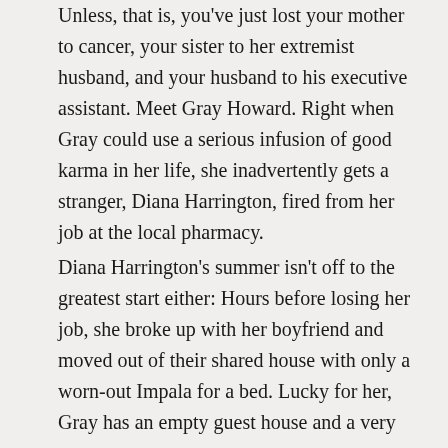Unless, that is, you've just lost your mother to cancer, your sister to her extremist husband, and your husband to his executive assistant. Meet Gray Howard. Right when Gray could use a serious infusion of good karma in her life, she inadvertently gets a stranger, Diana Harrington, fired from her job at the local pharmacy.
Diana Harrington's summer isn't off to the greatest start either: Hours before losing her job, she broke up with her boyfriend and moved out of their shared house with only a worn-out Impala for a bed. Lucky for her, Gray has an empty guest house and a very